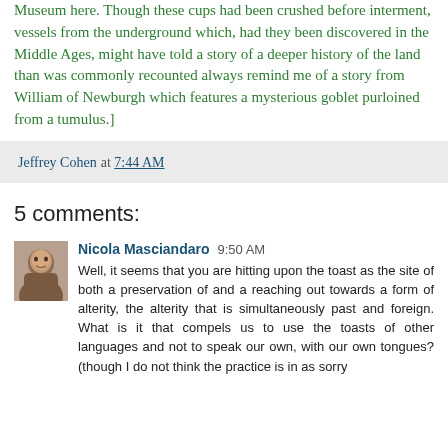Museum here. Though these cups had been crushed before interment, vessels from the underground which, had they been discovered in the Middle Ages, might have told a story of a deeper history of the land than was commonly recounted always remind me of a story from William of Newburgh which features a mysterious goblet purloined from a tumulus.]
Jeffrey Cohen at 7:44 AM
5 comments:
Nicola Masciandaro 9:50 AM
Well, it seems that you are hitting upon the toast as the site of both a preservation of and a reaching out towards a form of alterity, the alterity that is simultaneously past and foreign. What is it that compels us to use the toasts of other languages and not to speak our own, with our own tongues? (though I do not think the practice is in as sorry